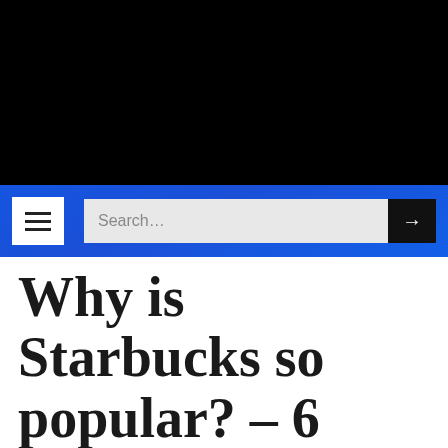[Figure (screenshot): Black banner area at top of webpage (advertisement or image placeholder)]
Navigation bar with hamburger menu and search box
Why is Starbucks so popular? – 6 amazing reasons.
As of January 2nd, 2023 Starbucks had...